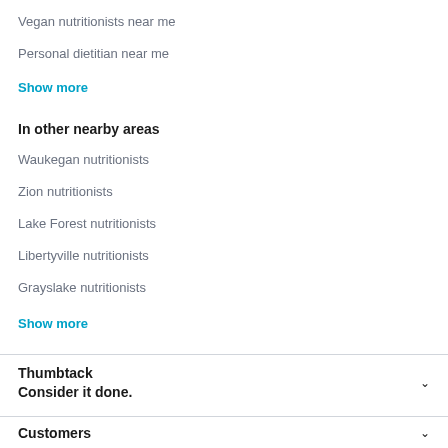Vegan nutritionists near me
Personal dietitian near me
Show more
In other nearby areas
Waukegan nutritionists
Zion nutritionists
Lake Forest nutritionists
Libertyville nutritionists
Grayslake nutritionists
Show more
Thumbtack
Consider it done.
Customers